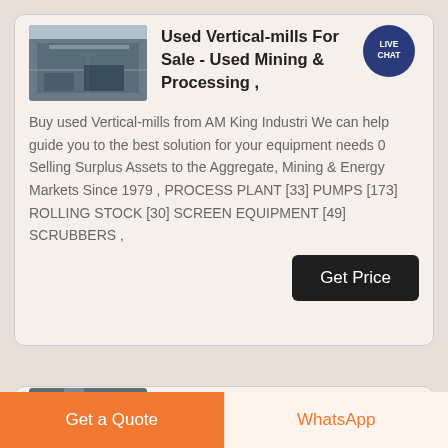[Figure (photo): Interior of an industrial warehouse or factory building]
Used Vertical-mills For Sale - Used Mining & Processing ,
Buy used Vertical-mills from AM King Industri We can help guide you to the best solution for your equipment needs 0 Selling Surplus Assets to the Aggregate, Mining & Energy Markets Since 1979 , PROCESS PLANT [33] PUMPS [173] ROLLING STOCK [30] SCREEN EQUIPMENT [49] SCRUBBERS ,
[Figure (photo): Industrial ball mill plant equipment]
ball mill plant - hiimac